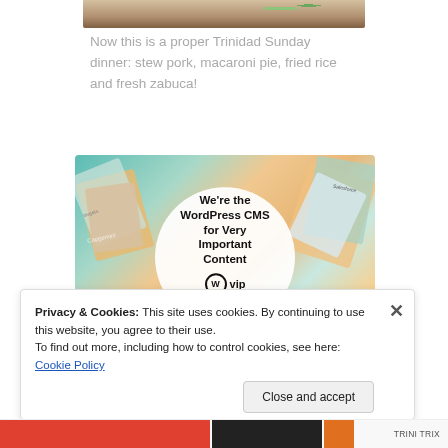[Figure (photo): Partial view of a food photograph showing a meal with green items, likely a Trinidad Sunday dinner scene.]
Now this is a proper Trinidad Sunday dinner: stew pork, macaroni pie, fried rice and fresh zabuca!
[Figure (screenshot): WordPress VIP advertisement banner showing colorful card layouts in background with white circle containing text: We're the WordPress CMS for Very Important Content, WordPress VIP logo, and Learn more button.]
Privacy & Cookies: This site uses cookies. By continuing to use this website, you agree to their use.
To find out more, including how to control cookies, see here: Cookie Policy